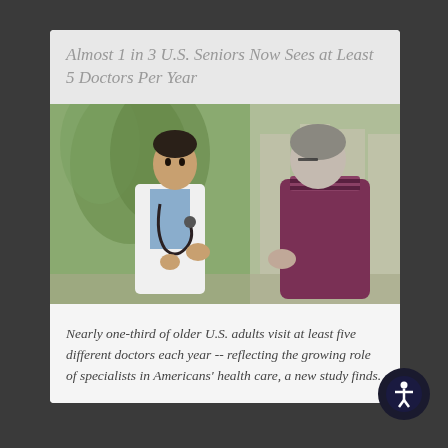Almost 1 in 3 U.S. Seniors Now Sees at Least 5 Doctors Per Year
[Figure (photo): A doctor in a white coat with a stethoscope talking to an elderly male patient, both seen from the side in what appears to be a medical office setting with plants in the background.]
Nearly one-third of older U.S. adults visit at least five different doctors each year -- reflecting the growing role of specialists in Americans' health care, a new study finds.